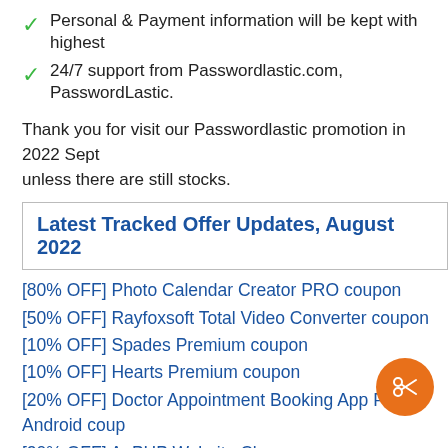Personal & Payment information will be kept with highest
24/7 support from Passwordlastic.com, PasswordLastic.
Thank you for visit our Passwordlastic promotion in 2022 Sept unless there are still stocks.
Latest Tracked Offer Updates, August 2022
[80% OFF] Photo Calendar Creator PRO coupon
[50% OFF] Rayfoxsoft Total Video Converter coupon
[10% OFF] Spades Premium coupon
[10% OFF] Hearts Premium coupon
[20% OFF] Doctor Appointment Booking App For Android coup
[20% OFF] ApPHP Website Cleaner coupon
[25% OFF] Mac PowerSuite (Family License) coupon
[23% OFF] MAGIX Music Maker 2023 Premium Edition coup